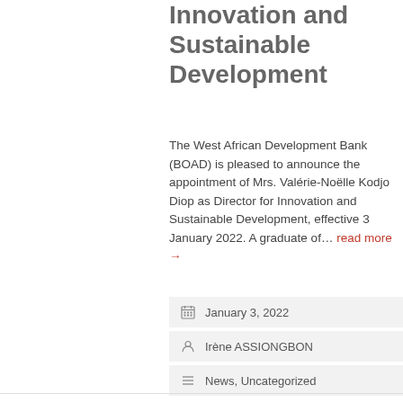Innovation and Sustainable Development
The West African Development Bank (BOAD) is pleased to announce the appointment of Mrs. Valérie-Noëlle Kodjo Diop as Director for Innovation and Sustainable Development, effective 3 January 2022. A graduate of… read more →
January 3, 2022
Irène ASSIONGBON
News, Uncategorized